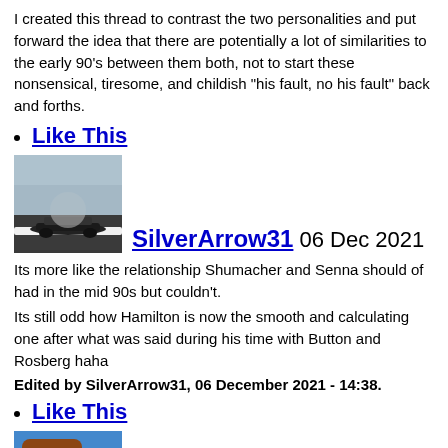I created this thread to contrast the two personalities and put forward the idea that there are potentially a lot of similarities to the early 90's between them both, not to start these nonsensical, tiresome, and childish "his fault, no his fault" back and forths.
Like This
[Figure (photo): F1 racing car on track with motion blur and sparks]
SilverArrow31 06 Dec 2021
Its more like the relationship Shumacher and Senna should of had in the mid 90s but couldn't.
Its still odd how Hamilton is now the smooth and calculating one after what was said during his time with Button and Rosberg haha
Edited by SilverArrow31, 06 December 2021 - 14:38.
Like This
[Figure (photo): Cartoon or illustrated avatar image]